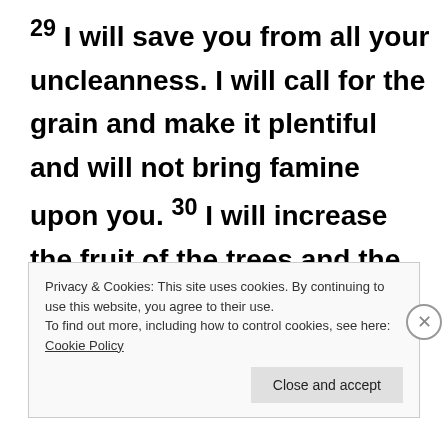29 I will save you from all your uncleanness. I will call for the grain and make it plentiful and will not bring famine upon you. 30 I will increase the fruit of the trees and the crops of the field, so that you will no longer suffer disgrace among
Privacy & Cookies: This site uses cookies. By continuing to use this website, you agree to their use.
To find out more, including how to control cookies, see here: Cookie Policy